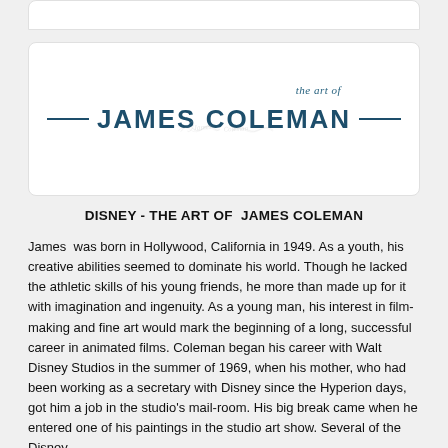[Figure (logo): The art of James Coleman logo — stylized signature overlay with decorative horizontal rules flanking 'JAMES COLEMAN' in bold teal uppercase letters and 'the art of' in italic script above]
DISNEY - THE ART OF  JAMES COLEMAN
James  was born in Hollywood, California in 1949. As a youth, his creative abilities seemed to dominate his world. Though he lacked the athletic skills of his young friends, he more than made up for it with imagination and ingenuity. As a young man, his interest in film-making and fine art would mark the beginning of a long, successful career in animated films. Coleman began his career with Walt Disney Studios in the summer of 1969, when his mother, who had been working as a secretary with Disney since the Hyperion days, got him a job in the studio's mail-room. His big break came when he entered one of his paintings in the studio art show. Several of the Disney